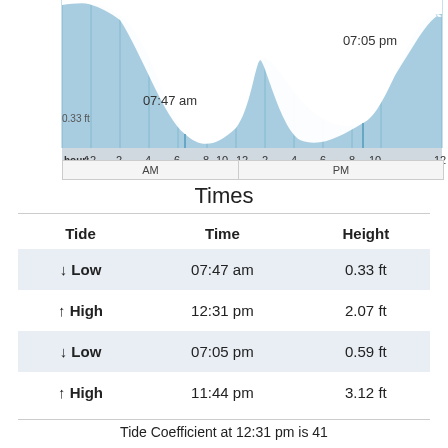[Figure (area-chart): Tide area chart showing low at 07:47 am (0.33 ft), high at 12:31 pm, low at 07:05 pm (0.59 ft)]
Times
| Tide | Time | Height |
| --- | --- | --- |
| ↓ Low | 07:47 am | 0.33 ft |
| ↑ High | 12:31 pm | 2.07 ft |
| ↓ Low | 07:05 pm | 0.59 ft |
| ↑ High | 11:44 pm | 3.12 ft |
Tide Coefficient at 12:31 pm is 41